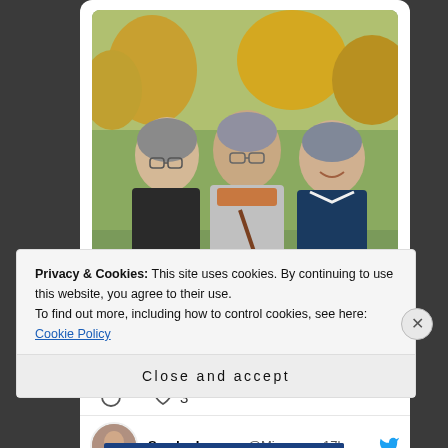[Figure (photo): A photo embedded in a tweet card showing three elderly women standing outdoors in a park-like setting with autumn trees in the background.]
3
Sandra Lawre... @Missvo... · 17h
Privacy & Cookies: This site uses cookies. By continuing to use this website, you agree to their use.
To find out more, including how to control cookies, see here: Cookie Policy
Close and accept